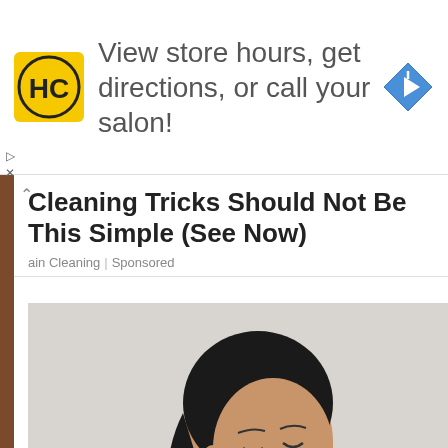[Figure (screenshot): Advertisement banner: HC (Haircuttery) logo in yellow square, text 'View store hours, get directions, or call your salon!', blue diamond navigation icon on right. Ad controls (play and close) on far left edge.]
Cleaning Tricks Should Not Be This Simple (See Now)
ain Cleaning | Sponsored
[Figure (photo): A young woman with dark hair in a ponytail, wearing a black and pink sports bra/athletic top, looking downward and touching her chest area. Light grey/white background.]